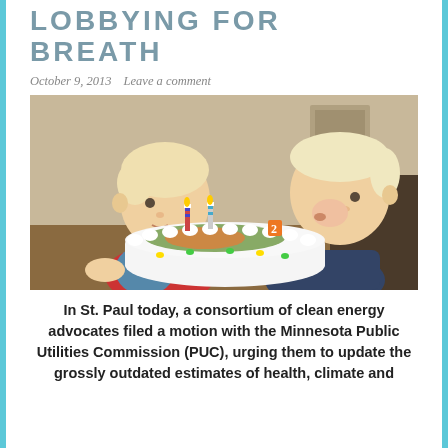LOBBYING FOR BREATH
October 9, 2013   Leave a comment
[Figure (photo): Two young toddler boys with blonde hair leaning over a white birthday cake with candles, one wearing a red and blue shirt, the other a dark patterned shirt, in a warm indoor setting.]
In St. Paul today, a consortium of clean energy advocates filed a motion with the Minnesota Public Utilities Commission (PUC), urging them to update the grossly outdated estimates of health, climate and